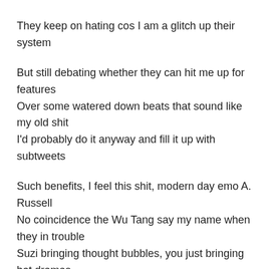They keep on hating cos I am a glitch up their system
But still debating whether they can hit me up for features
Over some watered down beats that sound like my old shit
I'd probably do it anyway and fill it up with subtweets
Such benefits, I feel this shit, modern day emo A. Russell
No coincidence the Wu Tang say my name when they in trouble
Suzi bringing thought bubbles, you just bringing hot dramas
Evolutionary dead ends like some pandas